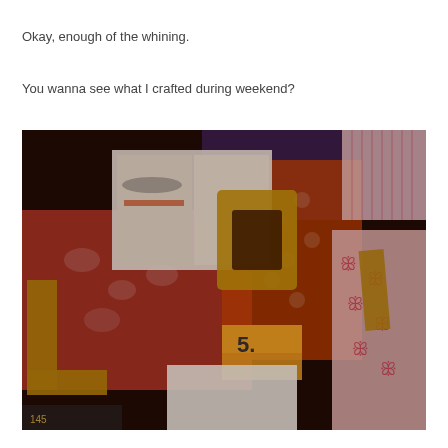Okay, enough of the whining.
You wanna see what I crafted during weekend?
[Figure (photo): A crafting scene showing cardboard letters spelling 'LOVE' arranged on colorful patterned scrapbook papers (red floral, red paisley, circular patterns) with an IKEA catalog open in the background showing price tag '5' and other items on a table.]